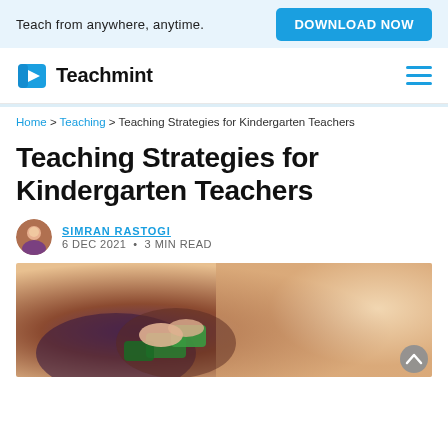Teach from anywhere, anytime. DOWNLOAD NOW
[Figure (logo): Teachmint logo with book icon and hamburger menu]
Home > Teaching > Teaching Strategies for Kindergarten Teachers
Teaching Strategies for Kindergarten Teachers
SIMRAN RASTOGI
6 DEC 2021 • 3 MIN READ
[Figure (photo): Close-up photo of a child's hands playing with green Lego/building blocks]